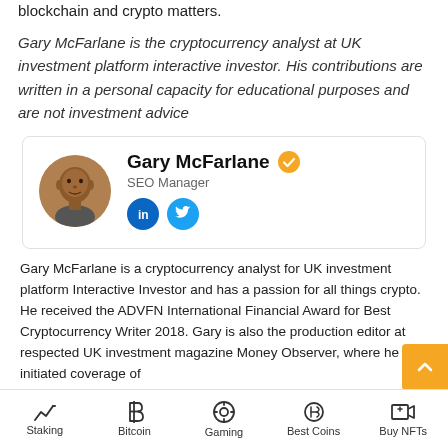blockchain and crypto matters.
Gary McFarlane is the cryptocurrency analyst at UK investment platform interactive investor. His contributions are written in a personal capacity for educational purposes and are not investment advice
[Figure (photo): Author card for Gary McFarlane with circular headshot photo, name with verified badge, SEO Manager title, LinkedIn and Twitter social icons]
Gary McFarlane is a cryptocurrency analyst for UK investment platform Interactive Investor and has a passion for all things crypto. He received the ADVFN International Financial Award for Best Cryptocurrency Writer 2018. Gary is also the production editor at respected UK investment magazine Money Observer, where he initiated coverage of bitcoin in 2018.
Staking | Bitcoin | Gaming | Best Coins | Buy NFTs